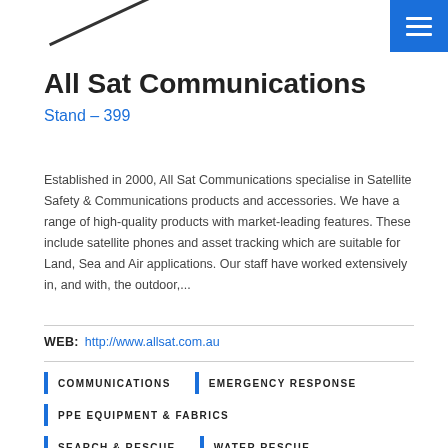[Figure (logo): Partial logo graphic at top left with diagonal line element]
All Sat Communications
Stand – 399
Established in 2000, All Sat Communications specialise in Satellite Safety & Communications products and accessories. We have a range of high-quality products with market-leading features. These include satellite phones and asset tracking which are suitable for Land, Sea and Air applications. Our staff have worked extensively in, and with, the outdoor,...
WEB: http://www.allsat.com.au
COMMUNICATIONS
EMERGENCY RESPONSE
PPE EQUIPMENT & FABRICS
SEARCH & RESCUE
WATER RESCUE